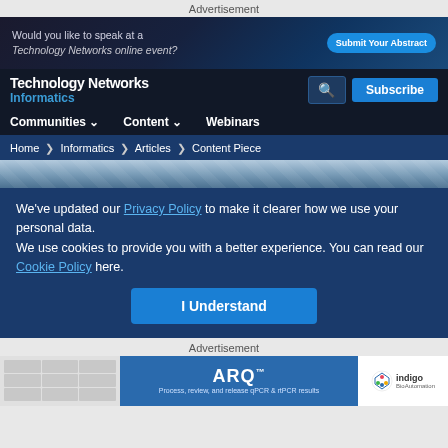Advertisement
[Figure (screenshot): Ad banner: Would you like to speak at a Technology Networks online event? Submit Your Abstract button]
Technology Networks Informatics — navigation bar with search and Subscribe button
Communities ∨   Content ∨   Webinars
Home › Informatics › Articles › Content Piece
[Figure (photo): Hero image strip showing architectural structure]
We've updated our Privacy Policy to make it clearer how we use your personal data.
We use cookies to provide you with a better experience. You can read our Cookie Policy here.
I Understand
Advertisement
[Figure (screenshot): ARQ™ ad banner — Process, review, and release qPCR & rtPCR results — indigo BioAutomation logo]